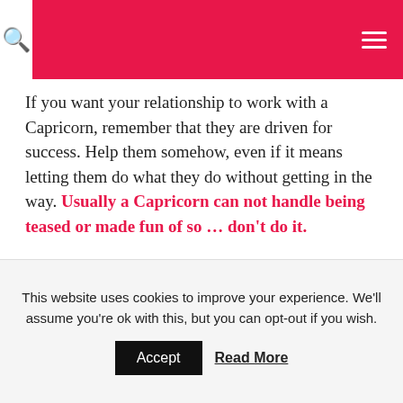Search | Menu
If you want your relationship to work with a Capricorn, remember that they are driven for success. Help them somehow, even if it means letting them do what they do without getting in the way. Usually a Capricorn can not handle being teased or made fun of so … don't do it.
The wife of a Capricorn man will always look as beautiful as she did when he fell in love with her, as
This website uses cookies to improve your experience. We'll assume you're ok with this, but you can opt-out if you wish. Accept Read More